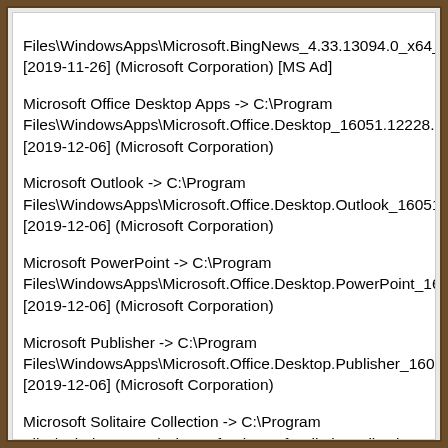Files\WindowsApps\Microsoft.BingNews_4.33.13094.0_x64__8wekyb3d8bbwe [2019-11-26] (Microsoft Corporation) [MS Ad]
Microsoft Office Desktop Apps -> C:\Program Files\WindowsApps\Microsoft.Office.Desktop_16051.12228.20332.0_x86__8wekyb3d8bbwe [2019-12-06] (Microsoft Corporation)
Microsoft Outlook -> C:\Program Files\WindowsApps\Microsoft.Office.Desktop.Outlook_16051.12228.20332.0_x86__8wekyb3d8bbwe [2019-12-06] (Microsoft Corporation)
Microsoft PowerPoint -> C:\Program Files\WindowsApps\Microsoft.Office.Desktop.PowerPoint_16051.12228.20332.0_x86__8wekyb3d8bbwe [2019-12-06] (Microsoft Corporation)
Microsoft Publisher -> C:\Program Files\WindowsApps\Microsoft.Office.Desktop.Publisher_16051.12228.20332.0_x86__8wekyb3d8bbwe [2019-12-06] (Microsoft Corporation)
Microsoft Solitaire Collection -> C:\Program Files\WindowsApps\Microsoft.MicrosoftSolitaireCollection_4.5.12061.0_x64__8wekyb3d8bbwe [2019-12-12] (Microsoft Studios) [MS Ad]
Microsoft Word -> C:\Program Files\WindowsApps\Microsoft.Office.Desktop.Word_16051.12228.2